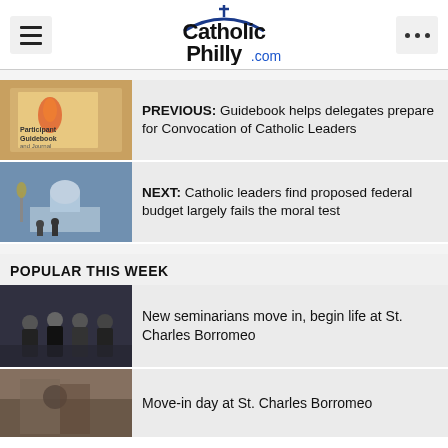CatholicPhilly.com
PREVIOUS: Guidebook helps delegates prepare for Convocation of Catholic Leaders
NEXT: Catholic leaders find proposed federal budget largely fails the moral test
POPULAR THIS WEEK
New seminarians move in, begin life at St. Charles Borromeo
Move-in day at St. Charles Borromeo